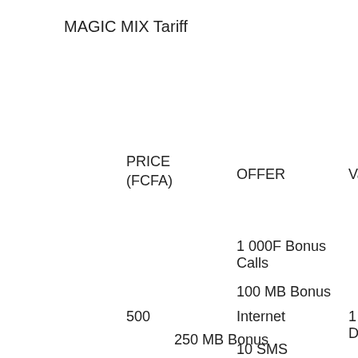MAGIC MIX Tariff
| PRICE (FCFA) | OFFER | Validity |
| --- | --- | --- |
| 500 | 1 000F Bonus Calls
100 MB Bonus Internet
10 SMS
1 Magic Number
2 000F Bonus Calls
250 MB Bonus | 1 Day |